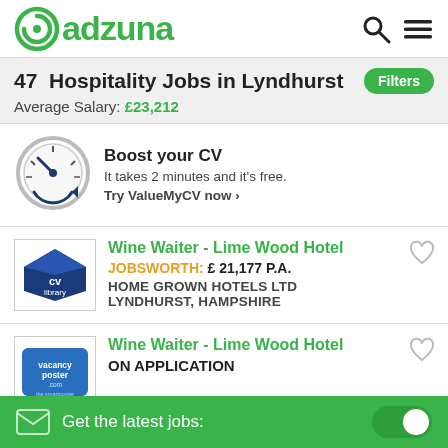adzuna
47  Hospitality Jobs in Lyndhurst
Average Salary: £23,212
[Figure (illustration): Speedometer / CV boost icon with circular arrow]
Boost your CV
It takes 2 minutes and it's free.
Try ValueMyCV now ❯
[Figure (logo): CV Library logo - diamond shape with text]
Wine Waiter - Lime Wood Hotel
JOBSWORTH: £ 21,177 P.A.
HOME GROWN HOTELS LTD
LYNDHURST, HAMPSHIRE
[Figure (logo): Vacancy Poster logo - blue rectangle]
Wine Waiter - Lime Wood Hotel
ON APPLICATION
Get the latest jobs: